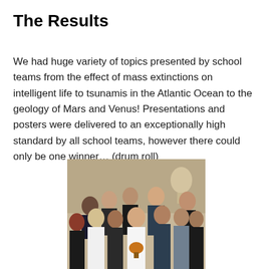The Results
We had huge variety of topics presented by school teams from the effect of mass extinctions on intelligent life to tsunamis in the Atlantic Ocean to the geology of Mars and Venus! Presentations and posters were delivered to an exceptionally high standard by all school teams, however there could only be one winner… (drum roll)
[Figure (photo): Group photo of approximately 12 students posing together in what appears to be a formal event venue. One student in the center is holding a trophy or award. The background shows architectural features including what appears to be a bust sculpture.]